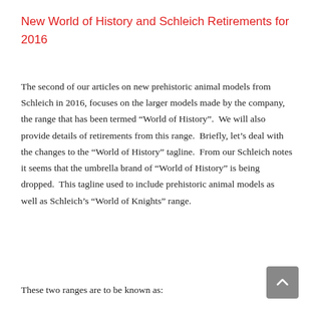New World of History and Schleich Retirements for 2016
The second of our articles on new prehistoric animal models from Schleich in 2016, focuses on the larger models made by the company, the range that has been termed “World of History”.  We will also provide details of retirements from this range.  Briefly, let’s deal with the changes to the “World of History” tagline.  From our Schleich notes it seems that the umbrella brand of “World of History” is being dropped.  This tagline used to include prehistoric animal models as well as Schleich’s “World of Knights” range.
These two ranges are to be known as: